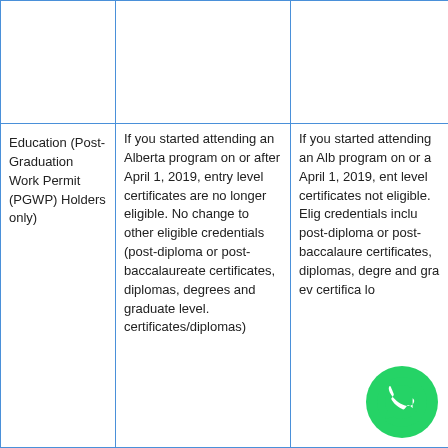|  |  |  |
| --- | --- | --- |
|  |  |  |
| Education (Post-Graduation Work Permit (PGWP) Holders only) | If you started attending an Alberta program on or after April 1, 2019, entry level certificates are no longer eligible. No change to other eligible credentials (post-diploma or post-baccalaureate certificates, diplomas, degrees and graduate level. certificates/diplomas) | If you started attending an Alberta program on or after April 1, 2019, entry level certificates are not eligible. Eligible credentials include post-diploma or post-baccalaureate certificates, diplomas, degrees and graduate level certificates/diplo... |